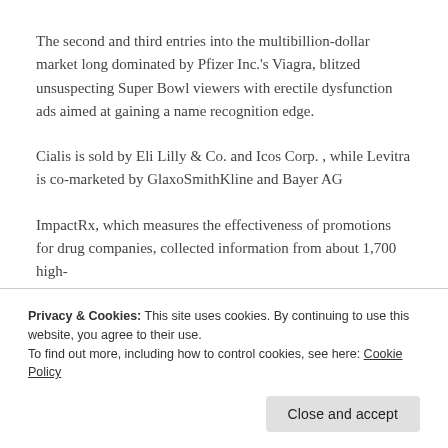The second and third entries into the multibillion-dollar market long dominated by Pfizer Inc.'s Viagra, blitzed unsuspecting Super Bowl viewers with erectile dysfunction ads aimed at gaining a name recognition edge.
Cialis is sold by Eli Lilly & Co. and Icos Corp. , while Levitra is co-marketed by GlaxoSmithKline and Bayer AG
ImpactRx, which measures the effectiveness of promotions for drug companies, collected information from about 1,700 high-
Privacy & Cookies: This site uses cookies. By continuing to use this website, you agree to their use.
To find out more, including how to control cookies, see here: Cookie Policy
Viagra, with its near universal name recognition, garnered 45